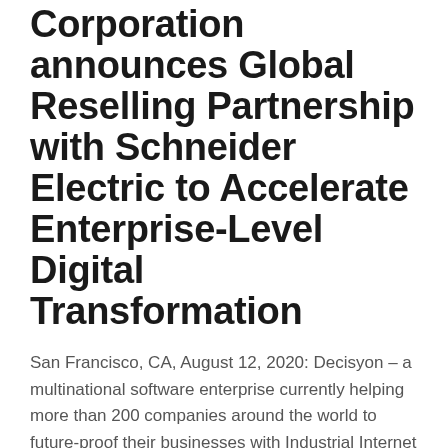Corporation announces Global Reselling Partnership with Schneider Electric to Accelerate Enterprise-Level Digital Transformation
San Francisco, CA, August 12, 2020: Decisyon – a multinational software enterprise currently helping more than 200 companies around the world to future-proof their businesses with Industrial Internet of Things (IIoT) products and end-to-end solutions for smart factories – today announces a re-selling partnership with Schneider Electric, the global leader in digital transformation of energy...